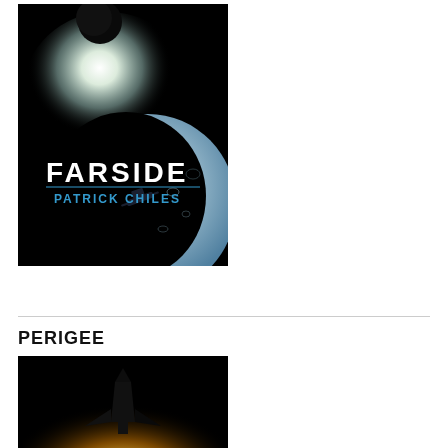[Figure (illustration): Book cover for FARSIDE by Patrick Chiles. Black background with a glowing white sun in upper area, a dark moon silhouette at top, a large blue-tinted crescent moon in lower half, and a small spacecraft silhouette. Title 'FARSIDE' in white block letters and 'PATRICK CHILES' in blue letters below.]
PERIGEE
[Figure (photo): Book cover for PERIGEE. Dark background with a glowing warm golden-yellow light source (sun or engine glow) illuminating the underside of a space shuttle or spacecraft silhouette from below.]